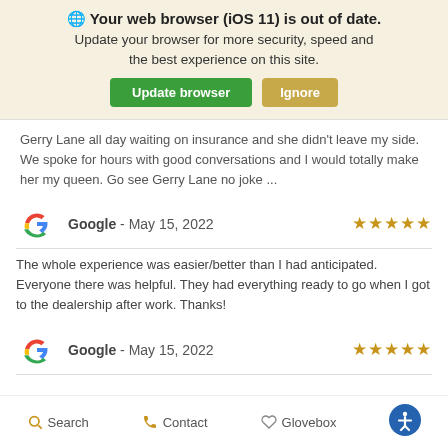🌐 Your web browser (iOS 11) is out of date. Update your browser for more security, speed and the best experience on this site.
Gerry Lane all day waiting on insurance and she didn't leave my side. We spoke for hours with good conversations and I would totally make her my queen. Go see Gerry Lane no joke ...
Google - May 15, 2022 ★★★★★
The whole experience was easier/better than I had anticipated. Everyone there was helpful. They had everything ready to go when I got to the dealership after work. Thanks!
Google - May 15, 2022 ★★★★★
Search   Contact   Glovebox   [Accessibility]